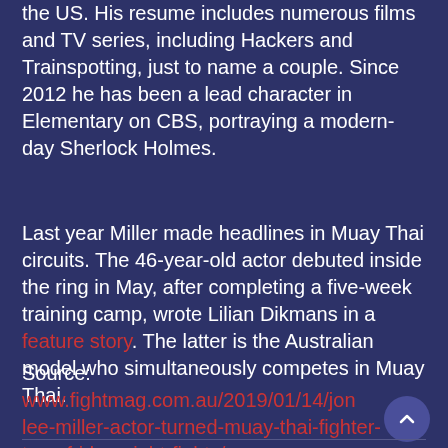the US. His resume includes numerous films and TV series, including Hackers and Trainspotting, just to name a couple. Since 2012 he has been a lead character in Elementary on CBS, portraying a modern-day Sherlock Holmes.
Last year Miller made headlines in Muay Thai circuits. The 46-year-old actor debuted inside the ring in May, after completing a five-week training camp, wrote Lilian Dikmans in a feature story. The latter is the Australian model who simultaneously competes in Muay Thai.
Source: www.fightmag.com.au/2019/01/14/jon lee-miller-actor-turned-muay-thai-fighter-tops-friday-night-fights/